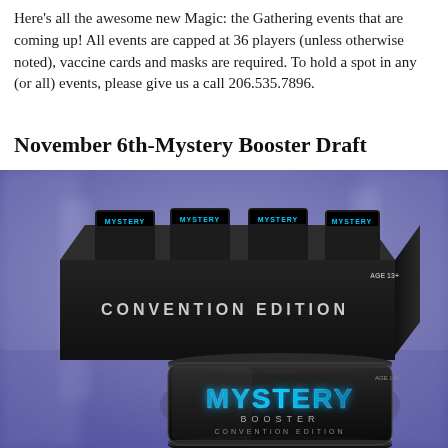Here's all the awesome new Magic: the Gathering events that are coming up! All events are capped at 36 players (unless otherwise noted), vaccine cards and masks are required. To hold a spot in any (or all) events, please give us a call 206.535.7896.
November 6th-Mystery Booster Draft
[Figure (photo): Product photo of Mystery Booster Convention Edition box set with multiple booster packs visible on top, and a single Mystery Booster Convention Edition pack in front. Background is blurred purple/blue retail store environment. Box reads 'CONVENTION EDITION' and 'AGE 13+'. Pack reads 'MYSTERY BOOSTER CONVENTION EDITION'.]